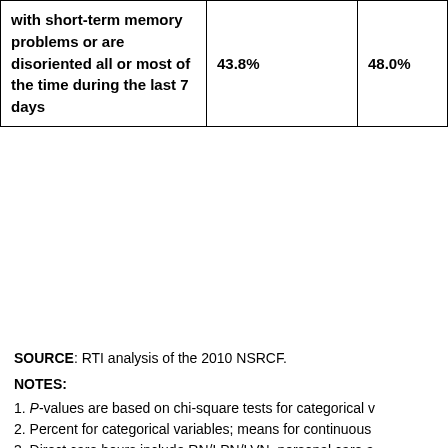|  |  |  |
| --- | --- | --- |
| with short-term memory problems or are disoriented all or most of the time during the last 7 days | 43.8% | 48.0% |
SOURCE: RTI analysis of the 2010 NSRCF.

NOTES:
1. P-values are based on chi-square tests for categorical v...
2. Percent for categorical variables; means for continuous...
3. Direct care hours include RN/LPN/LVN, personal care a...